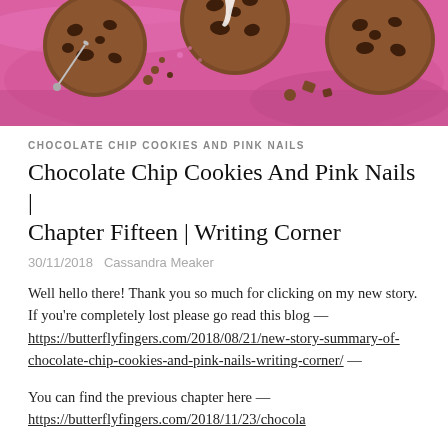[Figure (photo): Chocolate chip cookies on a pink background with a nail/pin, viewed from above]
CHOCOLATE CHIP COOKIES AND PINK NAILS
Chocolate Chip Cookies And Pink Nails | Chapter Fifteen | Writing Corner
30/11/2018   Cassandra Meaker
Well hello there! Thank you so much for clicking on my new story. If you're completely lost please go read this blog — https://butterflyfingers.com/2018/08/21/new-story-summary-of-chocolate-chip-cookies-and-pink-nails-writing-corner/ —
You can find the previous chapter here — https://butterflyfingers.com/2018/11/23/chocola